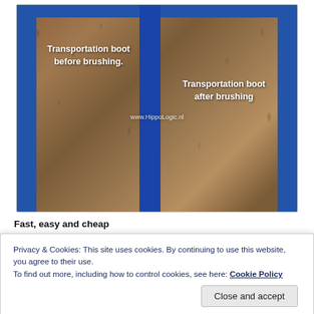[Figure (photo): Before and after comparison photo of a horse transportation boot with sheepskin lining. Left side shows the boot before brushing (matted, tangled fur), right side shows the boot after brushing (fluffy, clean fur). Blue border trim visible on edges. Watermark reads www.HippoLogic.nl. Text overlays: 'Transportation boot before brushing' on left and 'Transportation boot after brushing' on right.]
Fast, easy and cheap
This brush really does an amazing job on Velcro. I can really recommend it. I wonder why no tackshop is selling these brushes. It would be a real hit. With the metal cat brush I can clean Velcro in a matter of seconds as you can see in
Privacy & Cookies: This site uses cookies. By continuing to use this website, you agree to their use.
To find out more, including how to control cookies, see here: Cookie Policy